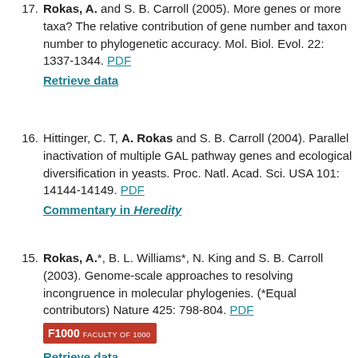17. Rokas, A. and S. B. Carroll (2005). More genes or more taxa? The relative contribution of gene number and taxon number to phylogenetic accuracy. Mol. Biol. Evol. 22: 1337-1344. PDF
Retrieve data
16. Hittinger, C. T, A. Rokas and S. B. Carroll (2004). Parallel inactivation of multiple GAL pathway genes and ecological diversification in yeasts. Proc. Natl. Acad. Sci. USA 101: 14144-14149. PDF
Commentary in Heredity
15. Rokas, A.*, B. L. Williams*, N. King and S. B. Carroll (2003). Genome-scale approaches to resolving incongruence in molecular phylogenies. (*Equal contributors) Nature 425: 798-804. PDF
F1000 Faculty of 1000
Retrieve data
Commentary in Nature
14. Rokas, A., E. Ladoukakis, and E. Zouros (2003). Animal mitochondrial DNA recombination revisited